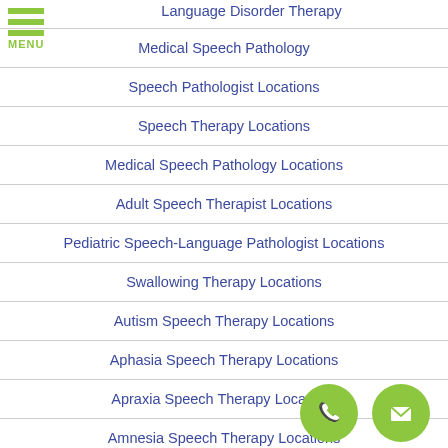Language Disorder Therapy
Medical Speech Pathology
Speech Pathologist Locations
Speech Therapy Locations
Medical Speech Pathology Locations
Adult Speech Therapist Locations
Pediatric Speech-Language Pathologist Locations
Swallowing Therapy Locations
Autism Speech Therapy Locations
Aphasia Speech Therapy Locations
Apraxia Speech Therapy Locations
Amnesia Speech Therapy Locations
Language Disorder Therapy Locati…